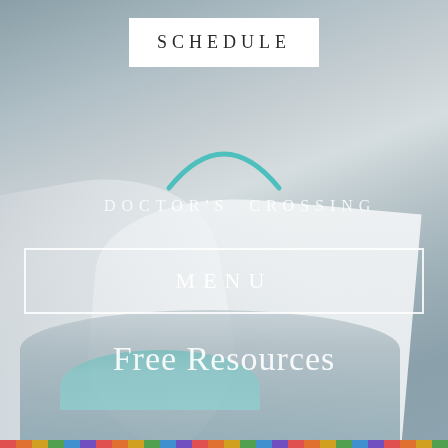[Figure (photo): Background photo of an open book/magazine, blurred, with muted blue-grey tones. A colorful stripe of small diagonal lines runs along the bottom edge.]
SCHEDULE
[Figure (logo): Doctor's Crossing logo: a teal arc/rainbow above the text DOCTOR'S CROSSING in spaced uppercase letters]
MENU
Free Resources